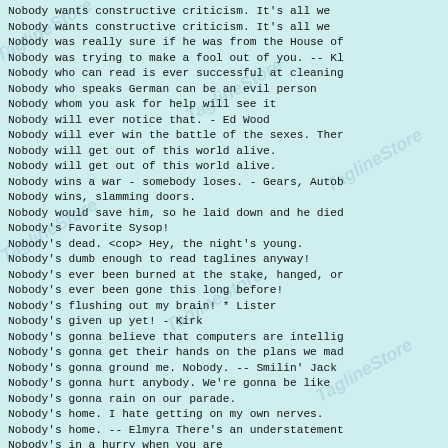Nobody wants constructive criticism.  It's all we
Nobody wants constructive criticism.  It's all we
Nobody was really sure if he was from the House of
Nobody was trying to make a fool out of you. -- Kl
Nobody who can read is ever successful at cleaning
Nobody who speaks German can be an evil person
Nobody whom you ask for help will see it
Nobody will ever notice that. - Ed Wood
Nobody will ever win the battle of the sexes. Ther
Nobody will get out of this world alive.
Nobody will get out of this world alive.
Nobody wins a war - somebody loses. - Gears, Autob
Nobody wins, slamming doors.
Nobody would save him, so he laid down and he died
Nobody's Favorite Sysop!
Nobody's dead. <cop> Hey, the night's young.
Nobody's dumb enough to read taglines anyway!
Nobody's ever been burned at the stake, hanged, or
Nobody's ever been gone this long before!
Nobody's flushing out my brain! * Lister
Nobody's given up yet! - Kirk
Nobody's gonna believe that computers are intellig
Nobody's gonna get their hands on the plans we mad
Nobody's gonna ground me.  Nobody. -- Smilin' Jack
Nobody's gonna hurt anybody.  We're gonna be like
Nobody's gonna rain on our parade.
Nobody's home.  I hate getting on my own nerves.
Nobody's home. -- Elmyra There's an understatement
Nobody's in a hurry when you are
Nobody's interested in sweetness and light.
Nobody's interested in sweetness and light. -- Ha